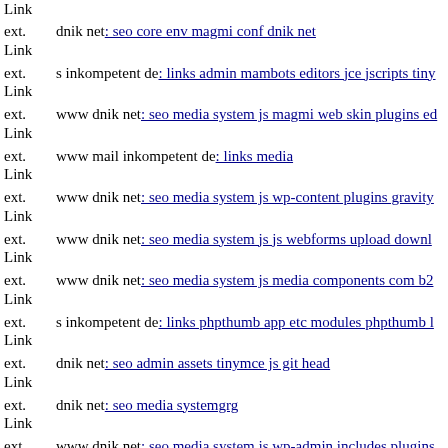ext. Link (partial, top cropped)
ext. Link dnik net: seo core env magmi conf dnik net
ext. Link s inkompetent de: links admin mambots editors jce jscripts tiny
ext. Link www dnik net: seo media system js magmi web skin plugins ed
ext. Link www mail inkompetent de: links media
ext. Link www dnik net: seo media system js wp-content plugins gravity
ext. Link www dnik net: seo media system js js webforms upload downl
ext. Link www dnik net: seo media system js media components com b2
ext. Link s inkompetent de: links phpthumb app etc modules phpthumb l
ext. Link dnik net: seo admin assets tinymce js git head
ext. Link dnik net: seo media systemgrg
ext. Link www dnik net: seo media system js wp-admin includes plugins